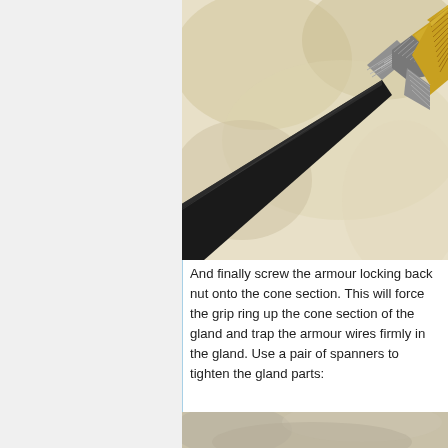[Figure (photo): Close-up photograph of an armoured cable being fitted into a brass cable gland. The black cable sheath is visible on the left, transitioning to silver armour wires which are gripped by a metallic cone section, with a gold/brass locking nut and threaded body on the right.]
And finally screw the armour locking back nut onto the cone section. This will force the grip ring up the cone section of the gland and trap the armour wires firmly in the gland. Use a pair of spanners to tighten the gland parts:
[Figure (photo): Partial view of a second photograph showing the gland assembly being tightened with spanners.]